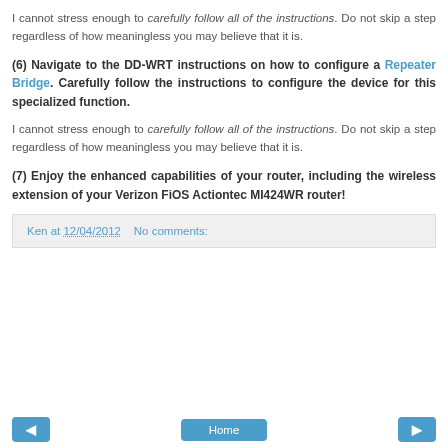I cannot stress enough to carefully follow all of the instructions. Do not skip a step regardless of how meaningless you may believe that it is.
(6) Navigate to the DD-WRT instructions on how to configure a Repeater Bridge. Carefully follow the instructions to configure the device for this specialized function.
I cannot stress enough to carefully follow all of the instructions. Do not skip a step regardless of how meaningless you may believe that it is.
(7) Enjoy the enhanced capabilities of your router, including the wireless extension of your Verizon FiOS Actiontec MI424WR router!
Ken at 12/04/2012   No comments:
◄   Home   ►